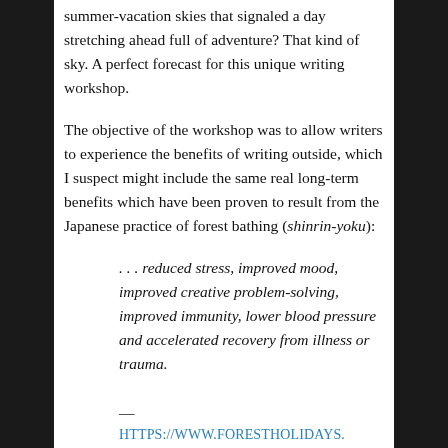summer-vacation skies that signaled a day stretching ahead full of adventure? That kind of sky. A perfect forecast for this unique writing workshop.
The objective of the workshop was to allow writers to experience the benefits of writing outside, which I suspect might include the same real long-term benefits which have been proven to result from the Japanese practice of forest bathing (shinrin-yoku):
. . . reduced stress, improved mood, improved creative problem-solving, improved immunity, lower blood pressure and accelerated recovery from illness or trauma.
—
HTTPS://WWW.FORESTHOLIDAYS.CO.UK/ACTIVITIES/FOREST-BATHING/BENEFITS/(SEE